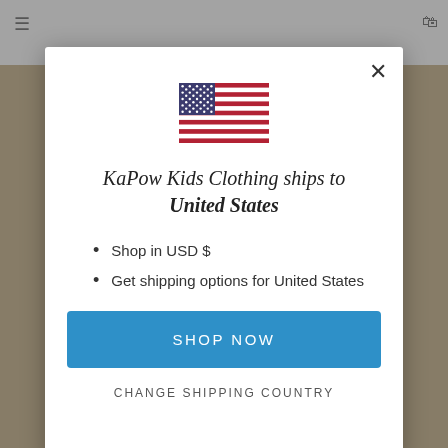[Figure (screenshot): Website modal dialog showing KaPow Kids Clothing shipping to United States, with US flag, bullet points about USD and shipping, a Shop Now button, and a Change Shipping Country link]
KaPow Kids Clothing ships to United States
Shop in USD $
Get shipping options for United States
SHOP NOW
CHANGE SHIPPING COUNTRY